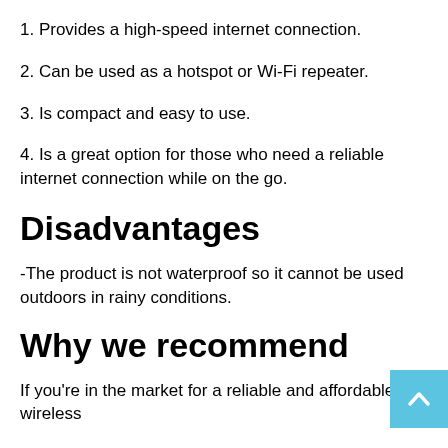1. Provides a high-speed internet connection.
2. Can be used as a hotspot or Wi-Fi repeater.
3. Is compact and easy to use.
4. Is a great option for those who need a reliable internet connection while on the go.
Disadvantages
-The product is not waterproof so it cannot be used outdoors in rainy conditions.
Why we recommend
If you're in the market for a reliable and affordable wireless